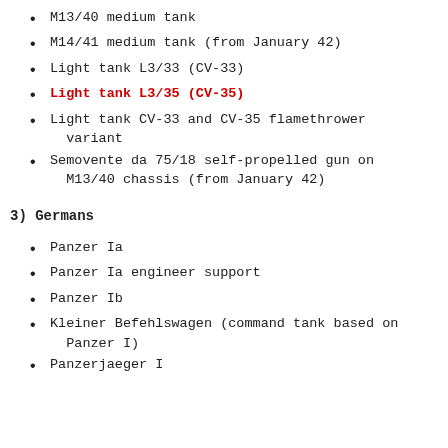M13/40 medium tank
M14/41 medium tank (from January 42)
Light tank L3/33 (CV-33)
Light tank L3/35 (CV-35)
Light tank CV-33 and CV-35 flamethrower variant
Semovente da 75/18 self-propelled gun on M13/40 chassis (from January 42)
3) Germans
Panzer Ia
Panzer Ia engineer support
Panzer Ib
Kleiner Befehlswagen (command tank based on Panzer I)
Panzerjaeger I